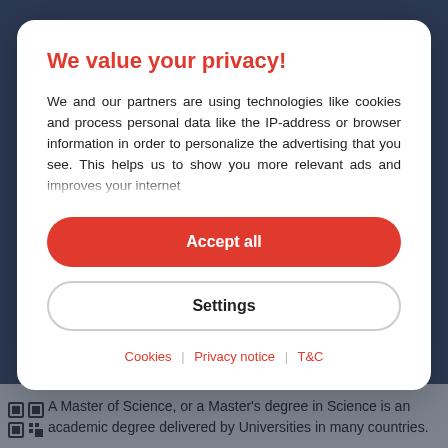KEYSTONE MASTERSTUDIES
We value your privacy!
We and our partners are using technologies like cookies and process personal data like the IP-address or browser information in order to personalize the advertising that you see. This helps us to show you more relevant ads and improves your internet
Accept all
Settings
Cookies | Privacy notice | T&C
A Master of Science, or a Master's degree in Science is an academic degree delivered by Universities in many countries.